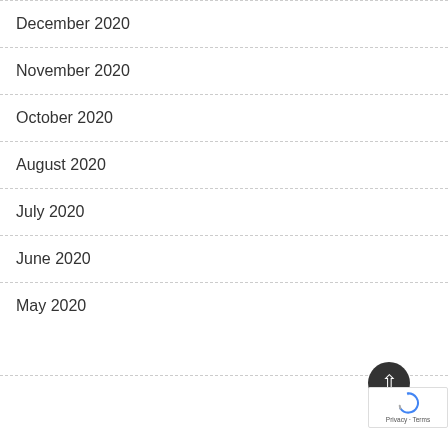December 2020
November 2020
October 2020
August 2020
July 2020
June 2020
May 2020